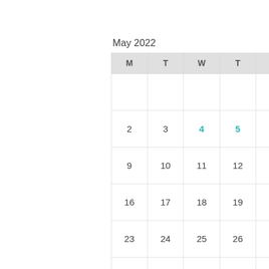May 2022
| M | T | W | T | F | S | S |
| --- | --- | --- | --- | --- | --- | --- |
|  |  |  |  |  |  | 1 |
| 2 | 3 | 4 | 5 | 6 | 7 | 8 |
| 9 | 10 | 11 | 12 | 13 | 14 | 15 |
| 16 | 17 | 18 | 19 | 20 | 21 | 22 |
| 23 | 24 | 25 | 26 | 27 | 28 | 29 |
| 30 | 31 |  |  |  |  |  |
« Mar